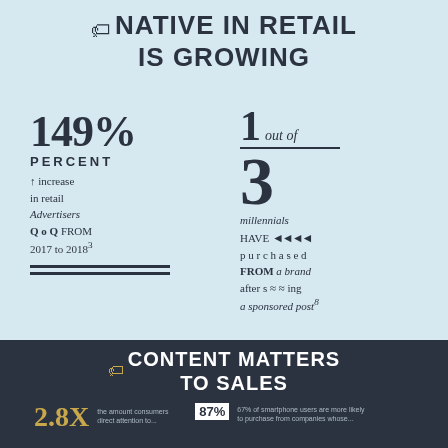NATIVE IN RETAIL IS GROWING
149% PERCENT increase in retail Advertisers Q o Q FROM 2017 to 2018³
1 out of 3 millennials HAVE purchased FROM a brand after s~~ing a sponsored post⁸
CONTENT MATTERS TO SALES
2.8X 87% 67% of smartphone users are more likely to purchase from companies whose...